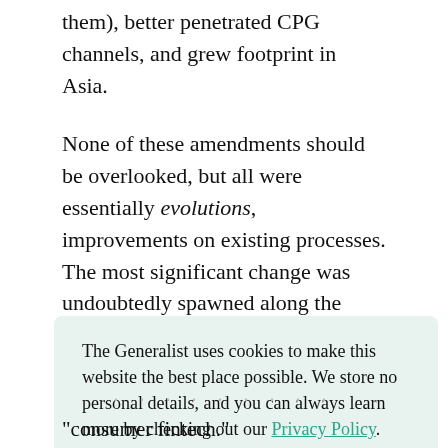them), better penetrated CPG channels, and grew footprint in Asia.
None of these amendments should be overlooked, but all were essentially evolutions, improvements on existing processes. The most significant change was undoubtedly spawned along the coast of Kailua-Kona. Schultz had returned as CEO of a coffee business. He left as CEO of a tech company.
The Generalist uses cookies to make this website the best place possible. We store no personal details, and you can always learn more by checking out our Privacy Policy.
“consumer fintech.”